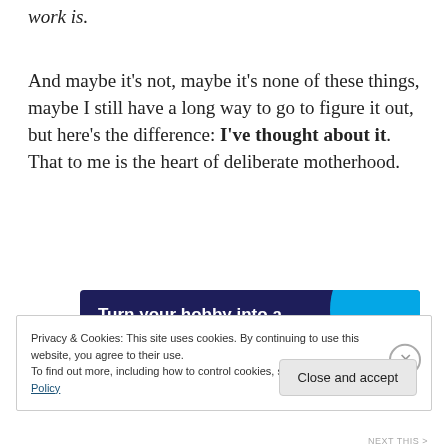work is.
And maybe it’s not, maybe it’s none of these things, maybe I still have a long way to go to figure it out, but here’s the difference: I’ve thought about it. That to me is the heart of deliberate motherhood.
[Figure (illustration): Advertisement banner with dark navy background and cyan circle graphic. Text: 'Turn your hobby into a business in 8 steps']
Privacy & Cookies: This site uses cookies. By continuing to use this website, you agree to their use.
To find out more, including how to control cookies, see here: Cookie Policy
Close and accept